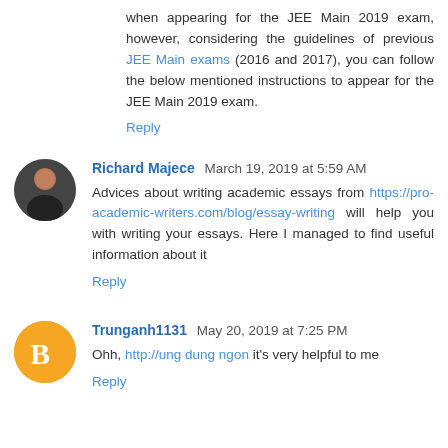when appearing for the JEE Main 2019 exam, however, considering the guidelines of previous JEE Main exams (2016 and 2017), you can follow the below mentioned instructions to appear for the JEE Main 2019 exam.
Reply
Richard Majece  March 19, 2019 at 5:59 AM
Advices about writing academic essays from https://pro-academic-writers.com/blog/essay-writing will help you with writing your essays. Here I managed to find useful information about it
Reply
Trunganh1131  May 20, 2019 at 7:25 PM
Ohh, http://ung dung ngon it's very helpful to me
Reply